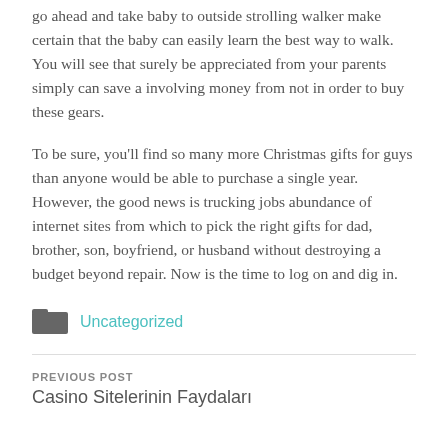go ahead and take baby to outside strolling walker make certain that the baby can easily learn the best way to walk. You will see that surely be appreciated from your parents simply can save a involving money from not in order to buy these gears.
To be sure, you'll find so many more Christmas gifts for guys than anyone would be able to purchase a single year. However, the good news is trucking jobs abundance of internet sites from which to pick the right gifts for dad, brother, son, boyfriend, or husband without destroying a budget beyond repair. Now is the time to log on and dig in.
[Figure (other): Folder icon representing a category tag]
Uncategorized
PREVIOUS POST
Casino Sitelerinin Faydaları